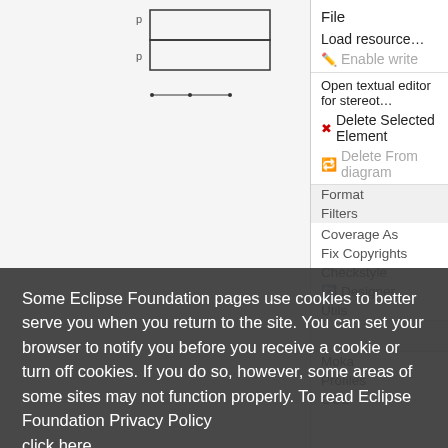[Figure (screenshot): Eclipse IDE context menu showing options: File, Load resource..., Enable write (grayed), Open textual editor for stereotype application, Delete Selected Element (with red X), Delete From diagram (grayed), Format, Filters, Coverage As, Fix Copyrights, Checkstyle, Designer, Utils, Moka, Profiles, OCL. Behind a dark semi-transparent cookie consent overlay.]
Some Eclipse Foundation pages use cookies to better serve you when you return to the site. You can set your browser to notify you before you receive a cookie or turn off cookies. If you do so, however, some areas of some sites may not function properly. To read Eclipse Foundation Privacy Policy click here.
Decline
Allow cookies